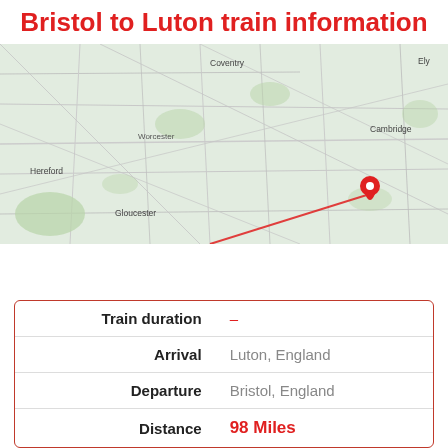Bristol to Luton train information
[Figure (map): Map showing route from Bristol to Luton, England with a red pin marker at Luton and a red line indicating the route]
| Label | Value |
| --- | --- |
| Train duration | – |
| Arrival | Luton, England |
| Departure | Bristol, England |
| Distance | 98 Miles |